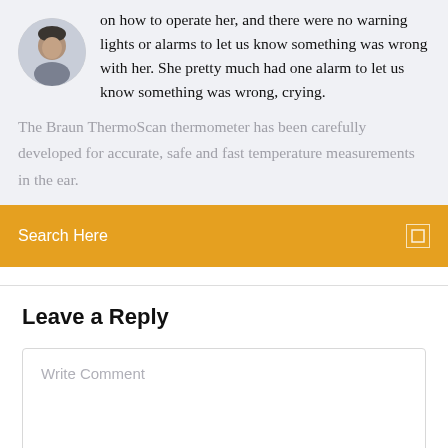on how to operate her, and there were no warning lights or alarms to let us know something was wrong with her. She pretty much had one alarm to let us know something was wrong, crying.
[Figure (photo): Circular avatar photo of a man]
The Braun ThermoScan thermometer has been carefully developed for accurate, safe and fast temperature measurements in the ear.
Search Here
Leave a Reply
Write Comment